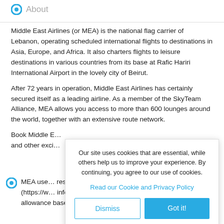About
Middle East Airlines (or MEA) is the national flag carrier of Lebanon, operating scheduled international flights to destinations in Asia, Europe, and Africa. It also charters flights to leisure destinations in various countries from its base at Rafic Hariri International Airport in the lovely city of Beirut.
After 72 years in operation, Middle East Airlines has certainly secured itself as a leading airline. As a member of the SkyTeam Alliance, MEA allows you access to more than 600 lounges around the world, together with an extensive route network.
Book Middle E… and other exci…
Our site uses cookies that are essential, while others help us to improve your experience. By continuing, you agree to our use of cookies.
Read our Cookie and Privacy Policy
Dismiss
Got it!
MEA use… restriction… (https://w… info/bagg… allowance based on your trip. For carry-on baggage,